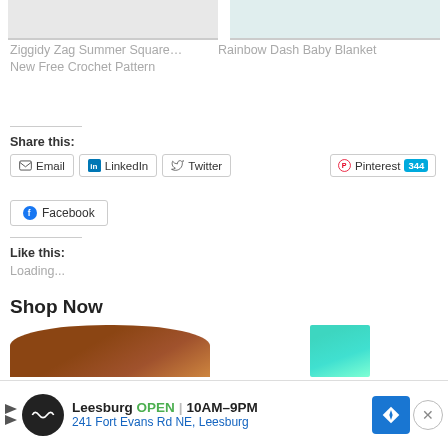[Figure (photo): Crochet blanket image thumbnails at top of page - two partial images showing colorful crochet patterns]
Ziggidy Zag Summer Square… New Free Crochet Pattern
Rainbow Dash Baby Blanket
Share this:
Email
LinkedIn
Twitter
Pinterest 344
Facebook
Like this:
Loading...
Shop Now
[Figure (photo): Wooden bowl product image]
[Figure (photo): Teal tube/cream product image]
Leesburg OPEN | 10AM–9PM 241 Fort Evans Rd NE, Leesburg